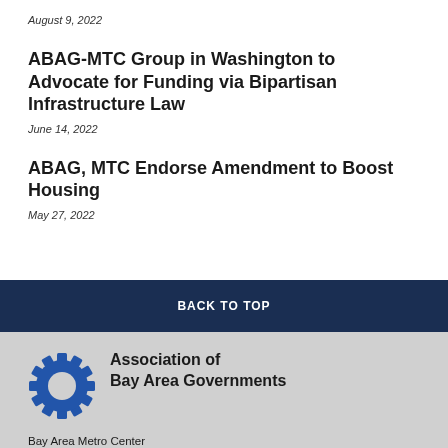August 9, 2022
ABAG-MTC Group in Washington to Advocate for Funding via Bipartisan Infrastructure Law
June 14, 2022
ABAG, MTC Endorse Amendment to Boost Housing
May 27, 2022
BACK TO TOP
[Figure (logo): Association of Bay Area Governments gear/cog logo in blue]
Association of Bay Area Governments
Bay Area Metro Center
375 Beale Street, Suite 800
San Francisco, CA 94105-2066